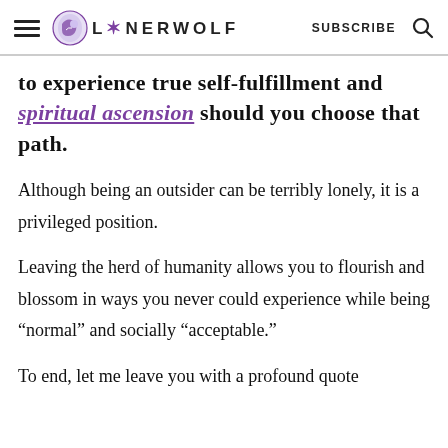LONERWOLF  SUBSCRIBE
to experience true self-fulfillment and spiritual ascension should you choose that path.
Although being an outsider can be terribly lonely, it is a privileged position.
Leaving the herd of humanity allows you to flourish and blossom in ways you never could experience while being “normal” and socially “acceptable.”
To end, let me leave you with a profound quote